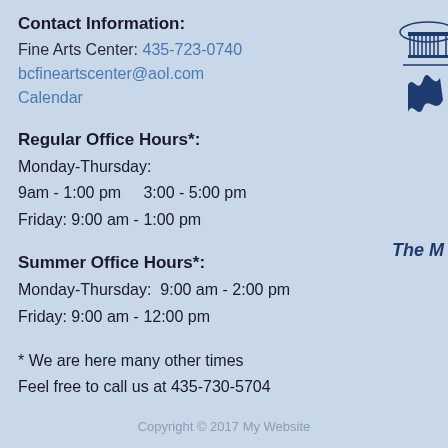Contact Information:
Fine Arts Center: 435-723-0740
bcfineartscenter@aol.com
Calendar
Regular Office Hours*:
Monday-Thursday:
9am - 1:00 pm    3:00 - 5:00 pm
Friday: 9:00 am - 1:00 pm
Summer Office Hours*:
Monday-Thursday:  9:00 am - 2:00 pm
Friday: 9:00 am - 12:00 pm
* We are here many other times
Feel free to call us at 435-730-5704
[Figure (logo): Capitol building and flag logo in dark blue, partially visible at top-right corner. Label 'The M' visible below.]
Copyright © 2017 My Website